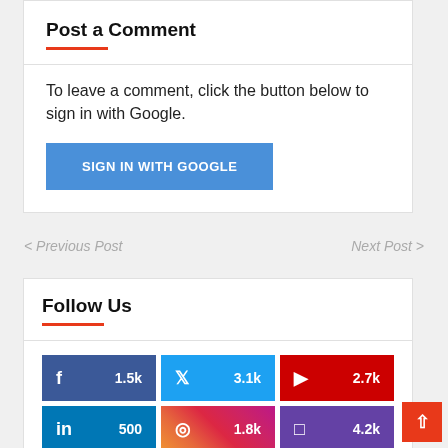Post a Comment
To leave a comment, click the button below to sign in with Google.
SIGN IN WITH GOOGLE
< Previous Post
Next Post >
Follow Us
f 1.5k
Twitter 3.1k
YouTube 2.7k
in 500
Instagram 1.8k
Twitch 4.2k